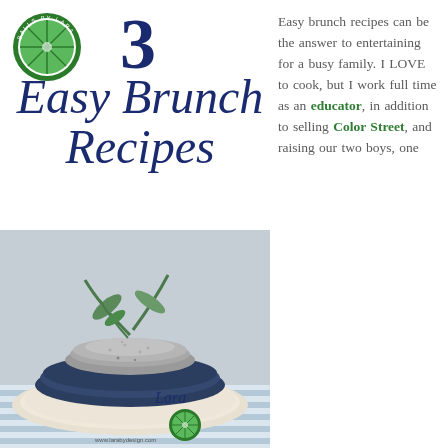[Figure (logo): Circular green logo with lime/lemon slice design and text 'Balls by Lara' around the border]
3 Easy Brunch Recipes
[Figure (photo): Stacked ceramic bowls and plates with green plant sprigs, photographed on a striped cloth background. Includes a lime logo and 'Lara' signature with website www.larabydesign.com]
Easy brunch recipes can be the answer to entertaining for a busy family. I LOVE to cook, but I work full time as an educator, in addition to selling Color Street, and raising our two boys, one